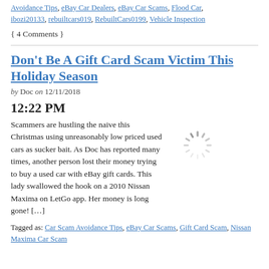Avoidance Tips, eBay Car Dealers, eBay Car Scams, Flood Car, ibozi20133, rebuiltcars019, RebuiltCars0199, Vehicle Inspection
{ 4 Comments }
Don't Be A Gift Card Scam Victim This Holiday Season
by Doc on 12/11/2018
12:22 PM
Scammers are hustling the naive this Christmas using unreasonably low priced used cars as sucker bait. As Doc has reported many times, another person lost their money trying to buy a used car with eBay gift cards. This lady swallowed the hook on a 2010 Nissan Maxima on LetGo app. Her money is long gone! […]
[Figure (other): Loading spinner/throbber animation icon]
Tagged as: Car Scam Avoidance Tips, eBay Car Scams, Gift Card Scam, Nissan Maxima Car Scam